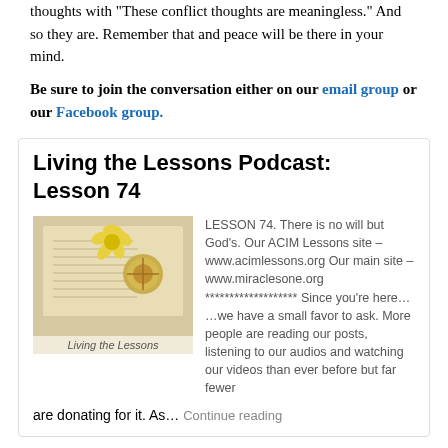thoughts with "These conflict thoughts are meaningless." And so they are. Remember that and peace will be there in your mind.
Be sure to join the conversation either on our email group or our Facebook group.
Living the Lessons Podcast: Lesson 74
[Figure (photo): Open book with a yellow flower and compass/medallion on top, captioned 'Living the Lessons']
LESSON 74. There is no will but God's. Our ACIM Lessons site – www.acimlessons.org Our main site – www.miraclesone.org ******************* Since you're here… …we have a small favor to ask. More people are reading our posts, listening to our audios and watching our videos than ever before but far fewer are donating for it. As… Continue reading
Since you're here… …we have a small favor to ask. More people are reading our posts, listening to our audios and watching our videos than ever before but far fewer are donating for it. As…
Continue reading